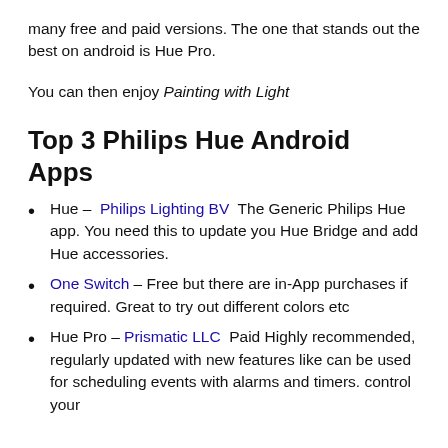many free and paid versions. The one that stands out the best on android is Hue Pro.
You can then enjoy Painting with Light
Top 3 Philips Hue Android Apps
Hue – Philips Lighting BV  The Generic Philips Hue app. You need this to update you Hue Bridge and add Hue accessories.
One Switch – Free but there are in-App purchases if required. Great to try out different colors etc
Hue Pro – Prismatic LLC  Paid Highly recommended, regularly updated with new features like can be used for scheduling events with alarms and timers. control your